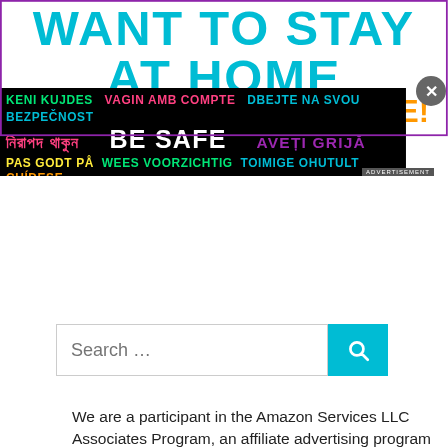[Figure (screenshot): Advertisement banner with multilingual 'BE SAFE' message on black background, teal large text 'WANT TO STAY AT HOME WITH YOUR KIDS?' with purple border, and a close button]
[Figure (screenshot): Search bar with text input 'Search ...' and a teal search button with magnifying glass icon]
We are a participant in the Amazon Services LLC Associates Program, an affiliate advertising program designed to provide a means for us to earn fees by